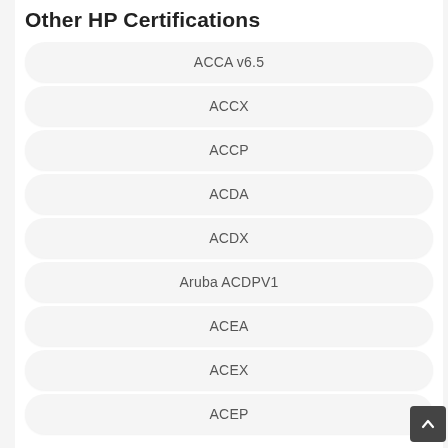Other HP Certifications
ACCA v6.5
ACCX
ACCP
ACDA
ACDX
Aruba ACDPV1
ACEA
ACEX
ACEP